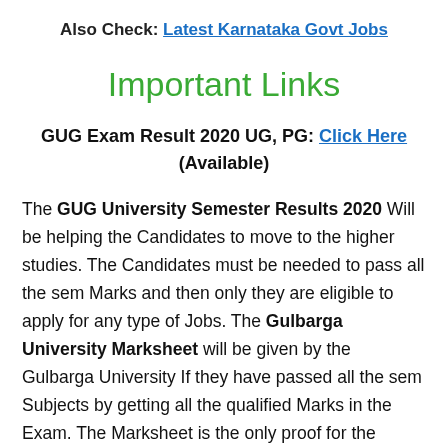Also Check: Latest Karnataka Govt Jobs
Important Links
GUG Exam Result 2020 UG, PG: Click Here (Available)
The GUG University Semester Results 2020 Will be helping the Candidates to move to the higher studies. The Candidates must be needed to pass all the sem Marks and then only they are eligible to apply for any type of Jobs. The Gulbarga University Marksheet will be given by the Gulbarga University If they have passed all the sem Subjects by getting all the qualified Marks in the Exam. The Marksheet is the only proof for the